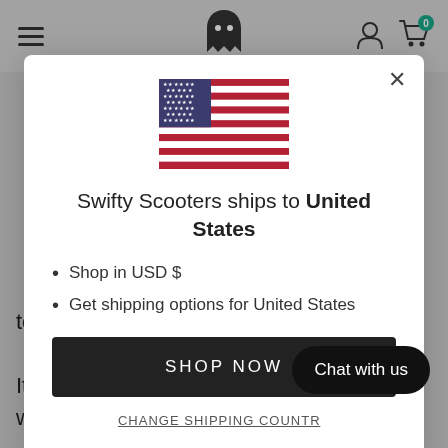[Figure (screenshot): Navigation bar with hamburger menu, ghost logo icon, user icon, and cart icon with badge showing 0]
[Figure (illustration): US flag SVG illustration]
Swifty Scooters ships to United States
Shop in USD $
Get shipping options for United States
SHOP NOW
CHANGE SHIPPING COUNTRY
to and from school. It's more ne... e is. It's possible to ride on the pavement as well as to
Chat with us